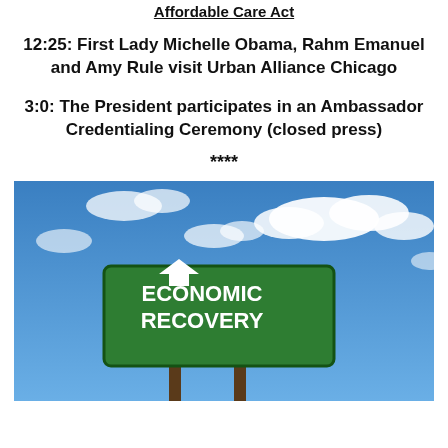Affordable Care Act
12:25: First Lady Michelle Obama, Rahm Emanuel and Amy Rule visit Urban Alliance Chicago
3:0: The President participates in an Ambassador Credentialing Ceremony (closed press)
****
[Figure (photo): A green highway road sign with a white upward arrow reading 'ECONOMIC RECOVERY', mounted on brown poles against a bright blue sky with white clouds.]